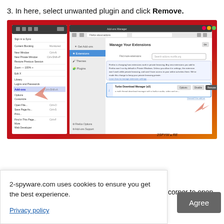3. In here, select unwanted plugin and click Remove.
[Figure (screenshot): Firefox browser screenshot showing Add-ons Manager with Extensions tab selected. A Firefox context menu is open on the left showing Add-ons option highlighted. The main panel shows 'Manage Your Extensions' with Turbo Download Manager listed, and a Remove button. Two pink arrows point to Add-ons in the menu and to the Remove button. Red/orange gradient background. 2-spyware watermark at bottom right.]
2-spyware.com uses cookies to ensure you get the best experience.
Privacy policy
corner to open
Agree